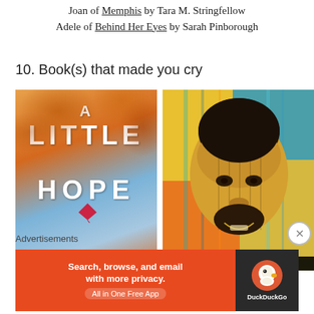Joan of Memphis by Tara M. Stringfellow
Adele of Behind Her Eyes by Sarah Pinborough
10. Book(s) that made you cry
[Figure (photo): Book cover of 'A Little Hope' by Ethan — autumn leaves background with sky, kite, white bold text]
[Figure (photo): Book cover with colorful portrait illustration of a man's face in yellow/orange/blue tones]
Advertisements
[Figure (screenshot): DuckDuckGo advertisement banner: 'Search, browse, and email with more privacy. All in One Free App' with DuckDuckGo logo on dark right panel]